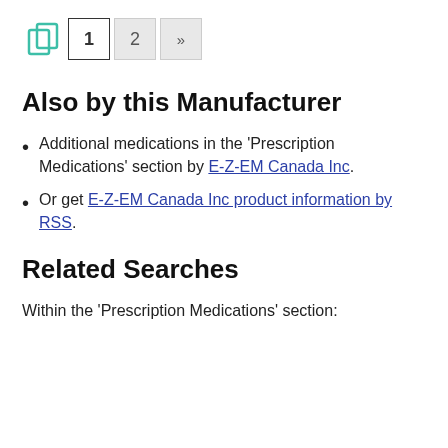1 2 »
Also by this Manufacturer
Additional medications in the 'Prescription Medications' section by E-Z-EM Canada Inc.
Or get E-Z-EM Canada Inc product information by RSS.
Related Searches
Within the 'Prescription Medications' section: